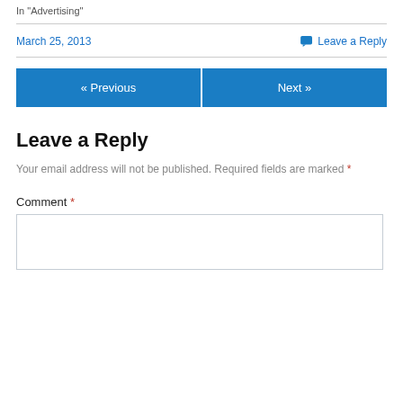In "Advertising"
March 25, 2013    💬 Leave a Reply
« Previous   Next »
Leave a Reply
Your email address will not be published. Required fields are marked *
Comment *